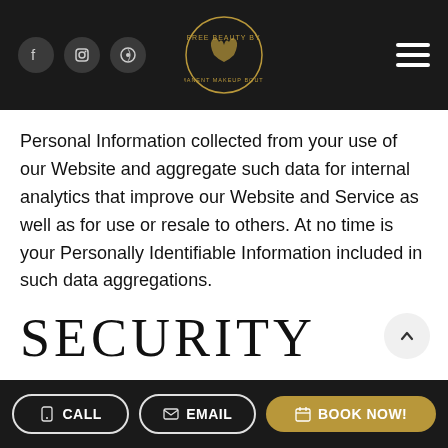Data Aggregation — navigation bar with social icons (Facebook, Instagram, Pinterest), center logo (Care Free Beauty By Mary), and hamburger menu
Personal Information collected from your use of our Website and aggregate such data for internal analytics that improve our Website and Service as well as for use or resale to others. At no time is your Personally Identifiable Information included in such data aggregations.
SECURITY
We take precautions to protect your information.
CALL   EMAIL   BOOK NOW!